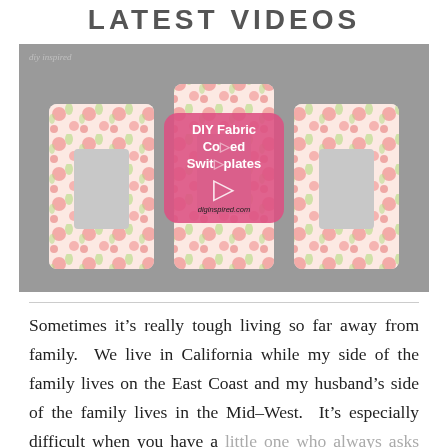LATEST VIDEOS
[Figure (screenshot): Video thumbnail showing DIY Fabric Covered Switchplates with a pink play button overlay. Three fabric-covered switchplates with floral pink and green pattern on a grey background. Overlay shows title 'DIY Fabric Covered Switchplates' and URL 'diginspired.com'. Top left shows 'diy inspired' watermark.]
Sometimes it’s really tough living so far away from family.  We live in California while my side of the family lives on the East Coast and my husband’s side of the family lives in the Mid–West.  It’s especially difficult when you have a little one who always asks for their grandparents